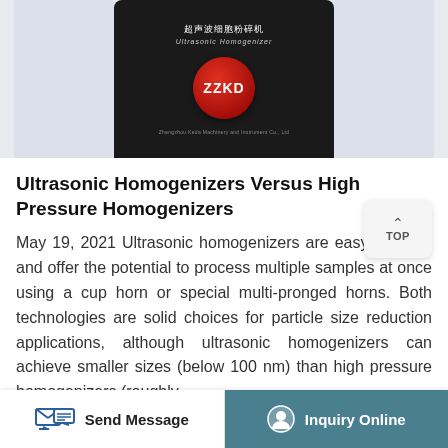[Figure (photo): Ultrasonic Homogenizer device (ZZKD brand) with a black front panel showing Chinese characters '超声波细胞粉碎机', 'Ultrasonic Homogenizer' text, and a red ZZKD logo circle]
Ultrasonic Homogenizers Versus High Pressure Homogenizers
May 19, 2021 Ultrasonic homogenizers are easy to clean and offer the potential to process multiple samples at once using a cup horn or special multi-pronged horns. Both technologies are solid choices for particle size reduction applications, although ultrasonic homogenizers can achieve smaller sizes (below 100 nm) than high pressure homogenizers (roughly ...
Send Message | Inquiry Online